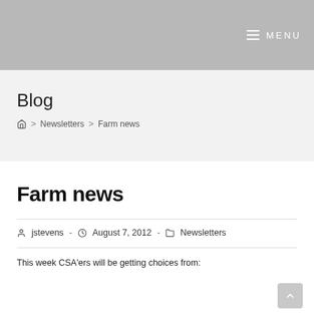MENU
Blog
Home > Newsletters > Farm news
Farm news
jstevens - August 7, 2012 - Newsletters
This week CSA'ers will be getting choices from: